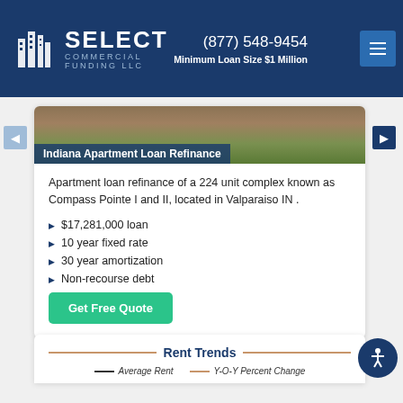(877) 548-9454 | Minimum Loan Size $1 Million | Select Commercial Funding LLC
[Figure (photo): Apartment complex photo with Indiana Apartment Loan Refinance label overlay]
Apartment loan refinance of a 224 unit complex known as Compass Pointe I and II, located in Valparaiso IN .
$17,281,000 loan
10 year fixed rate
30 year amortization
Non-recourse debt
Rent Trends
[Figure (line-chart): Rent Trends chart showing Average Rent and Y-O-Y Percent Change lines]